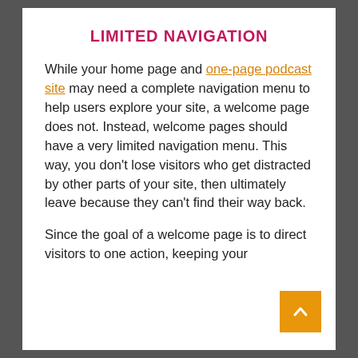LIMITED NAVIGATION
While your home page and one-page podcast site may need a complete navigation menu to help users explore your site, a welcome page does not. Instead, welcome pages should have a very limited navigation menu. This way, you don’t lose visitors who get distracted by other parts of your site, then ultimately leave because they can’t find their way back.
Since the goal of a welcome page is to direct visitors to one action, keeping your